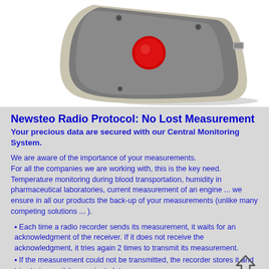[Figure (photo): 3D rendering of a grey rectangular electronic device (radio recorder/data logger) with a red circular button/indicator on the front face, viewed at an angle. The device has a grey plastic body with rounded corners and a lighter beige/cream border.]
Newsteo Radio Protocol: No Lost Measurement
Your precious data are secured with our Central Monitoring System.
We are aware of the importance of your measurements.
For all the companies we are working with, this is the key need.
Temperature monitoring during blood transportation, humidity in pharmaceutical laboratories, current measurement of an engine ... we ensure in all our products the back-up of your measurements (unlike many competing solutions ... ).
Each time a radio recorder sends its measurement, it waits for an acknowledgment of the receiver. If it does not receive the acknowledgment, it tries again 2 times to transmit its measurement.
If the measurement could not be transmitted, the recorder stores it and tries to transmit it one minute later.